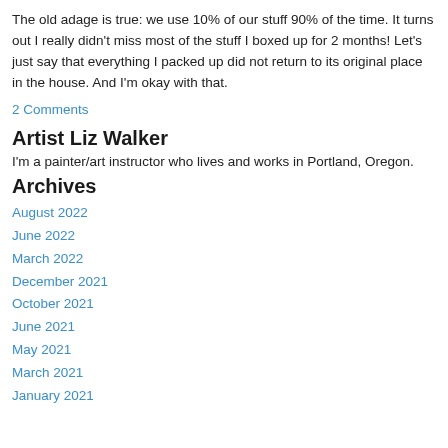The old adage is true: we use 10% of our stuff 90% of the time. It turns out I really didn't miss most of the stuff I boxed up for 2 months! Let's just say that everything I packed up did not return to its original place in the house. And I'm okay with that.
2 Comments
Artist Liz Walker
I'm a painter/art instructor who lives and works in Portland, Oregon.
Archives
August 2022
June 2022
March 2022
December 2021
October 2021
June 2021
May 2021
March 2021
January 2021